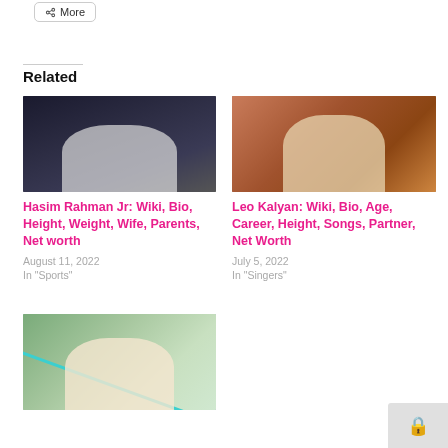More
Related
[Figure (photo): Hasim Rahman Jr at a press conference in front of a branded backdrop, white t-shirt, pointing at camera]
Hasim Rahman Jr: Wiki, Bio, Height, Weight, Wife, Parents, Net worth
August 11, 2022
In "Sports"
[Figure (photo): Leo Kalyan portrait, young man with beard looking sideways, outdoor background]
Leo Kalyan: Wiki, Bio, Age, Career, Height, Songs, Partner, Net Worth
July 5, 2022
In "Singers"
[Figure (photo): Woman with brown hair in white top, teal rope or strap across the image, outdoor setting]